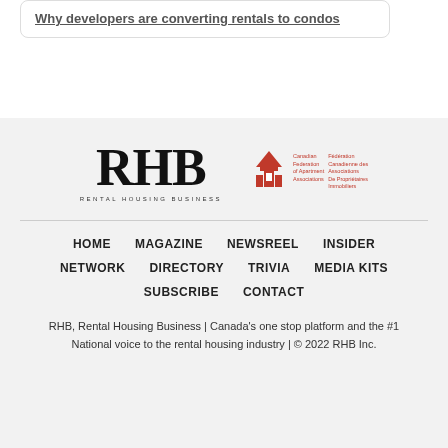Why developers are converting rentals to condos
[Figure (logo): RHB Rental Housing Business logo]
[Figure (logo): Canadian Federation of Apartment Associations / Fédération Canadienne des Associations De Propriétaires Immobiliers logo]
HOME  MAGAZINE  NEWSREEL  INSIDER  NETWORK  DIRECTORY  TRIVIA  MEDIA KITS  SUBSCRIBE  CONTACT
RHB, Rental Housing Business | Canada's one stop platform and the #1 National voice to the rental housing industry | © 2022 RHB Inc.